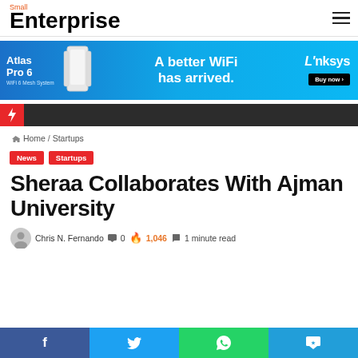Small Enterprise
[Figure (other): Linksys Atlas Pro 6 WiFi 6 Mesh System advertisement banner: 'A better WiFi has arrived.' with Buy now button]
Home / Startups
News  Startups
Sheraa Collaborates With Ajman University
Chris N. Fernando  0  1,046  1 minute read
[Figure (other): Social sharing bar with Facebook, Twitter, WhatsApp, and Telegram icons]